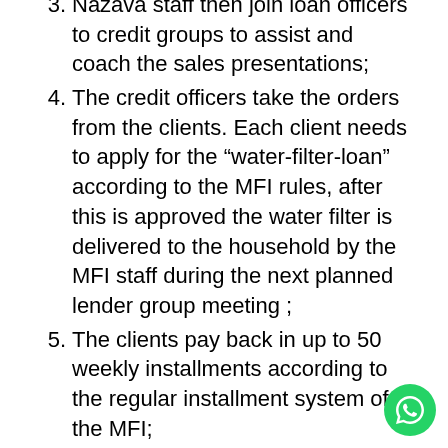3. Nazava staff then join loan officers to credit groups to assist and coach the sales presentations;
4. The credit officers take the orders from the clients. Each client needs to apply for the "water-filter-loan" according to the MFI rules, after this is approved the water filter is delivered to the household by the MFI staff during the next planned lender group meeting ;
5. The clients pay back in up to 50 weekly installments according to the regular installment system of the MFI;
6. Next; Nazava and the MFI